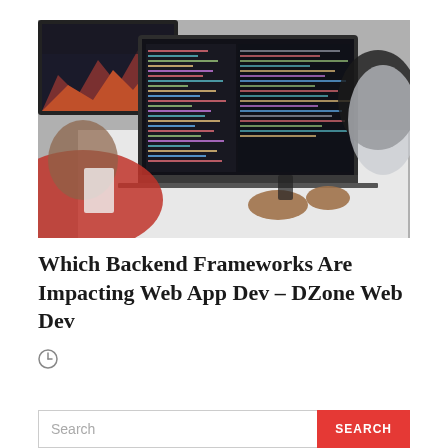[Figure (photo): Photo of two people working at a desk with laptops and monitors showing code. One person wearing a red top in the foreground, another with braided hair in the background. Multiple monitors visible including one with macOS mountains wallpaper.]
Which Backend Frameworks Are Impacting Web App Dev – DZone Web Dev
[Figure (illustration): Clock/time icon (circular clock outline)]
Search